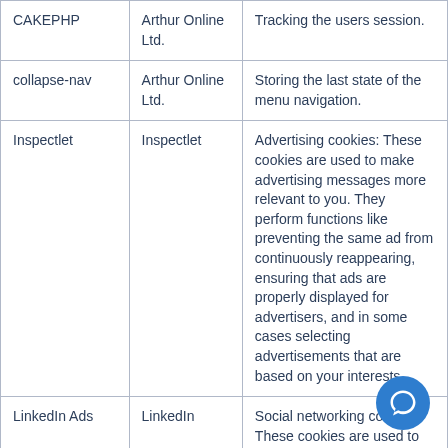| CAKEPHP | Arthur Online Ltd. | Tracking the users session. |
| collapse-nav | Arthur Online Ltd. | Storing the last state of the menu navigation. |
| Inspectlet | Inspectlet | Advertising cookies: These cookies are used to make advertising messages more relevant to you. They perform functions like preventing the same ad from continuously reappearing, ensuring that ads are properly displayed for advertisers, and in some cases selecting advertisements that are based on your interests. |
| LinkedIn Ads | LinkedIn | Social networking cookies. These cookies are used to |